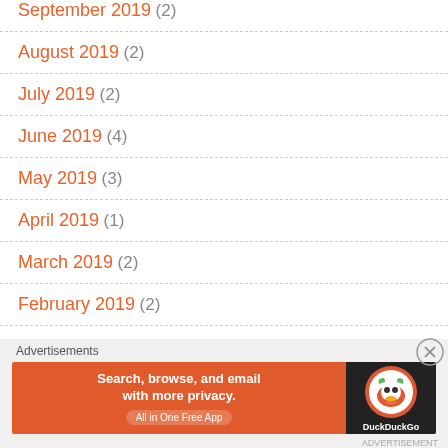September 2019 (2)
August 2019 (2)
July 2019 (2)
June 2019 (4)
May 2019 (3)
April 2019 (1)
March 2019 (2)
February 2019 (2)
December 2018 (2)
[Figure (screenshot): DuckDuckGo advertisement banner: 'Search, browse, and email with more privacy. All in One Free App' with DuckDuckGo logo on dark background]